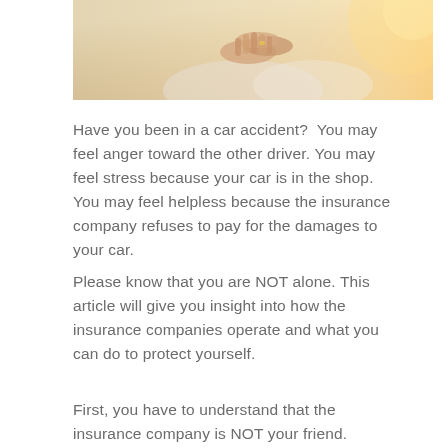[Figure (photo): Photo of two people with clasped hands, warm sunlit background, partial view of persons in casual clothing]
Have you been in a car accident?  You may feel anger toward the other driver.  You may feel stress because your car is in the shop.  You may feel helpless because the insurance company refuses to pay for the damages to your car.
Please know that you are NOT alone.  This article will give you insight into how the insurance companies operate and what you can do to protect yourself.
First, you have to understand that the insurance company is NOT your friend.